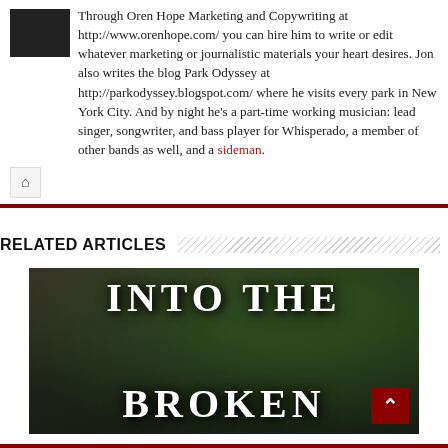Through Oren Hope Marketing and Copywriting at http://www.orenhope.com/ you can hire him to write or edit whatever marketing or journalistic materials your heart desires. Jon also writes the blog Park Odyssey at http://parkodyssey.blogspot.com/ where he visits every park in New York City. And by night he's a part-time working musician: lead singer, songwriter, and bass player for Whisperado, a member of other bands as well, and a sideman.
[Figure (other): Home icon button]
RELATED ARTICLES
[Figure (photo): Book cover image showing 'INTO THE BROKEN' text on dark forest background]